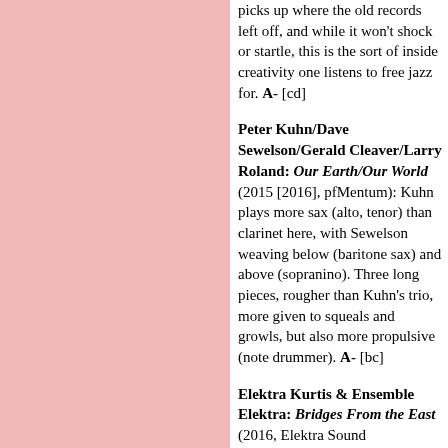picks up where the old records left off, and while it won't shock or startle, this is the sort of inside creativity one listens to free jazz for. A- [cd]
Peter Kuhn/Dave Sewelson/Gerald Cleaver/Larry Roland: Our Earth/Our World (2015 [2016], pfMentum): Kuhn plays more sax (alto, tenor) than clarinet here, with Sewelson weaving below (baritone sax) and above (sopranino). Three long pieces, rougher than Kuhn's trio, more given to squeals and growls, but also more propulsive (note drummer). A- [bc]
Elektra Kurtis & Ensemble Elektra: Bridges From the East (2016, Elektra Sound Works/Milo): Violinist, "of Greek origin," raised in Poland, studied in Finland, wound up in New York. More...